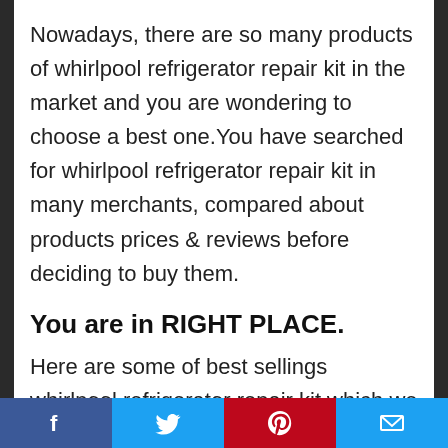Nowadays, there are so many products of whirlpool refrigerator repair kit in the market and you are wondering to choose a best one.You have searched for whirlpool refrigerator repair kit in many merchants, compared about products prices & reviews before deciding to buy them.
You are in RIGHT PLACE.
Here are some of best sellings whirlpool refrigerator repair kit which we would like to recommend with high customer review ratings to guide you on quality & popularity of each items.
Facebook  Twitter  Pinterest  Email